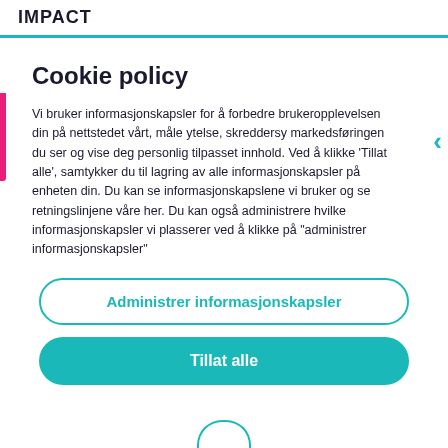IMPACT
Cookie policy
Vi bruker informasjonskapsler for å forbedre brukeropplevelsen din på nettstedet vårt, måle ytelse, skreddersy markedsføringen du ser og vise deg personlig tilpasset innhold. Ved å klikke 'Tillat alle', samtykker du til lagring av alle informasjonskapsler på enheten din. Du kan se informasjonskapslene vi bruker og se retningslinjene våre her. Du kan også administrere hvilke informasjonskapsler vi plasserer ved å klikke på "administrer informasjonskapsler"
Administrer informasjonskapsler
Tillat alle